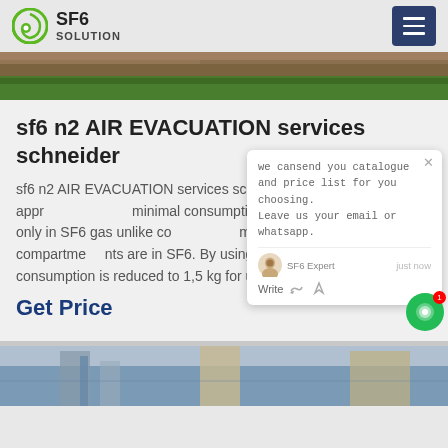SF6 SOLUTION
[Figure (photo): Top landscape photo strip showing ground/grass area]
sf6 n2 AIR EVACUATION services schneider
sf6 n2 AIR EVACUATION services schneider2019/5/16The above approach ensures minimal consumption of SF6 gas as DS is only in SF6 gas unlike conventional switchgear where all HV compartments are in SF6. By using this approach, the SF6 consumption is reduced to 1,5 kg for up ...
Get Price
[Figure (screenshot): Chat popup overlay with message: we can send you catalogue and price list for you choosing. Leave us your email or whatsapp.]
[Figure (photo): Bottom photo strip showing industrial/construction scene with scaffolding]